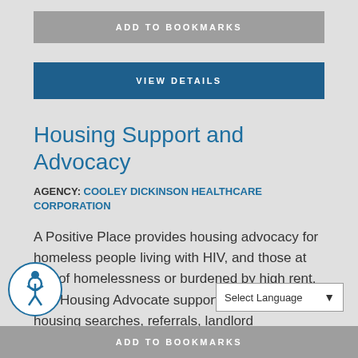ADD TO BOOKMARKS
VIEW DETAILS
Housing Support and Advocacy
AGENCY: COOLEY DICKINSON HEALTHCARE CORPORATION
A Positive Place provides housing advocacy for homeless people living with HIV, and those at risk of homelessness or burdened by high rent. Our Housing Advocate supports clients with housing searches, referrals, landlord negotiations, eviction support and completion of housing applications. A limited number tenant-based rental subsidies for elig...
ADD TO BOOKMARKS